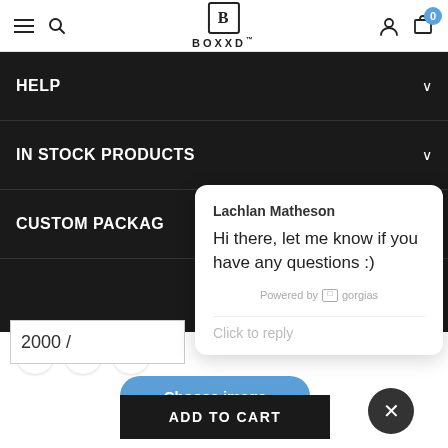[Figure (screenshot): BOXXD e-commerce website header navigation bar with hamburger menu, search icon, BOXXD logo, user icon, and cart with badge showing 0]
HELP
IN STOCK PRODUCTS
CUSTOM PACKAG
2000 /
Lachlan Matheson
Hi there, let me know if you have any questions :)
Powered by gorgias
Click to reply
Choose image
ADD TO CART